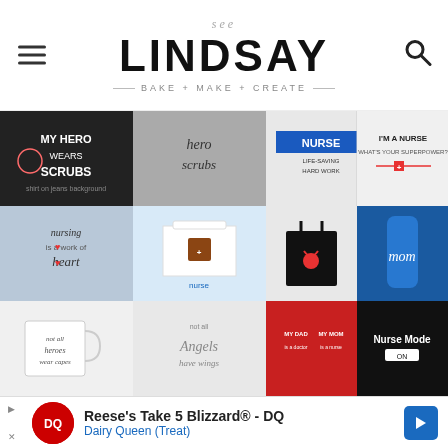see LINDSAY · BAKE + MAKE + CREATE
[Figure (photo): Grid of nurse/medical themed t-shirts, tote bags, and craft items including shirts saying 'My Hero Wears Scrubs', 'hero scrubs', 'NURSE', 'I'm A Nurse', 'nursing is a work of heart', nurse hat craft, stethoscope tote bag, 'mom' water bottle, coffee mug, angel shirt, baseball shirts, 'Nurse Mode' shirt]
Reese's Take 5 Blizzard® - DQ · Dairy Queen (Treat)